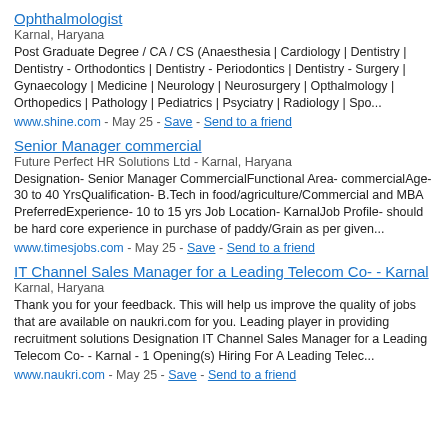Ophthalmologist
Karnal, Haryana
Post Graduate Degree / CA / CS (Anaesthesia | Cardiology | Dentistry | Dentistry - Orthodontics | Dentistry - Periodontics | Dentistry - Surgery | Gynaecology | Medicine | Neurology | Neurosurgery | Opthalmology | Orthopedics | Pathology | Pediatrics | Psyciatry | Radiology | Spo...
www.shine.com - May 25 - Save - Send to a friend
Senior Manager commercial
Future Perfect HR Solutions Ltd - Karnal, Haryana
Designation- Senior Manager CommercialFunctional Area- commercialAge- 30 to 40 YrsQualification- B.Tech in food/agriculture/Commercial and MBA PreferredExperience- 10 to 15 yrs Job Location- KarnalJob Profile- should be hard core experience in purchase of paddy/Grain as per given...
www.timesjobs.com - May 25 - Save - Send to a friend
IT Channel Sales Manager for a Leading Telecom Co- - Karnal
Karnal, Haryana
Thank you for your feedback. This will help us improve the quality of jobs that are available on naukri.com for you. Leading player in providing recruitment solutions Designation IT Channel Sales Manager for a Leading Telecom Co- - Karnal - 1 Opening(s) Hiring For A Leading Telec...
www.naukri.com - May 25 - Save - Send to a friend